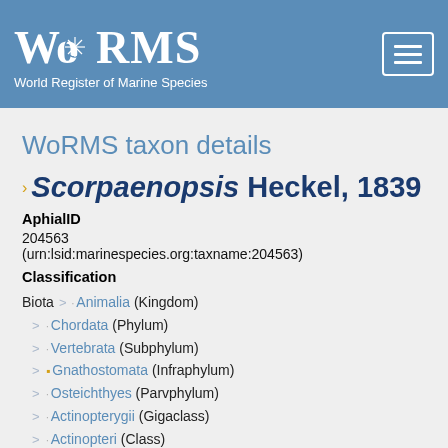[Figure (logo): WoRMS logo — World Register of Marine Species, white text on blue background]
WoRMS taxon details
Scorpaenopsis Heckel, 1839
AphialID
204563
(urn:lsid:marinespecies.org:taxname:204563)
Classification
Biota > Animalia (Kingdom)
> Chordata (Phylum)
> Vertebrata (Subphylum)
> Gnathostomata (Infraphylum)
> Osteichthyes (Parvphylum)
> Actinopterygii (Gigaclass)
> Actinopteri (Class)
> Teleostei (Subclass)